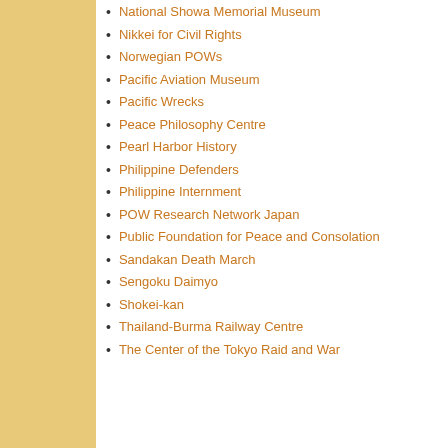National Showa Memorial Museum
Nikkei for Civil Rights
Norwegian POWs
Pacific Aviation Museum
Pacific Wrecks
Peace Philosophy Centre
Pearl Harbor History
Philippine Defenders
Philippine Internment
POW Research Network Japan
Public Foundation for Peace and Consolation
Sandakan Death March
Sengoku Daimyo
Shokei-kan
Thailand-Burma Railway Centre
The Center of the Tokyo Raid and War
Xiaobo Su, Assistant Professor
THE COMING ASIAN ARMS
Speakers: Ely Ratner, Deputy American Security; Randall S
MOTHERLAND LOST: THE MODERNITY. 8/22, Noon-1:
Samuel Tadros, Author, Lecturer Executive Director, Washington
EMERGENCE OF NEW DON AID.
8/22, Noon-1:00pm. Speaker: Shoko Yamada, Assistant Professor Development and Educational International Development, N
[Figure (photo): Book cover: In the Shadow of Violence, politics, economics and the problems of development]
IN T 2:00pm Adviser Manage Depar Editor, Develo